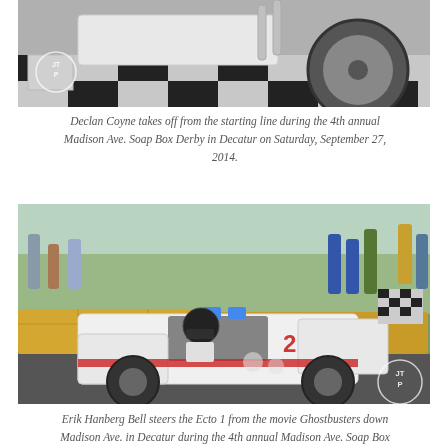[Figure (photo): Top portion of a soap box derby car, showing wheels and checkered floor pattern, with JTP watermark logo in lower left]
Declan Coyne takes off from the starting line during the 4th annual Madison Ave. Soap Box Derby in Decatur on Saturday, September 27, 2014.
[Figure (photo): Erik Hanberg Bell steering a white Ecto 1 Ghostbusters-themed soap box derby car down Madison Ave., with crowd watching from behind hay bales, JTP watermark logo in lower right]
Erik Hanberg Bell steers the Ecto 1 from the movie Ghostbusters down Madison Ave. in Decatur during the 4th annual Madison Ave. Soap Box Derby